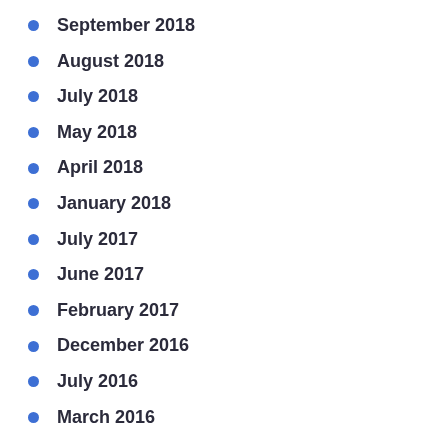September 2018
August 2018
July 2018
May 2018
April 2018
January 2018
July 2017
June 2017
February 2017
December 2016
July 2016
March 2016